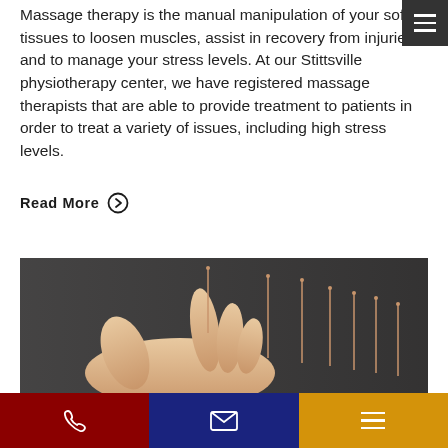Massage therapy is the manual manipulation of your soft tissues to loosen muscles, assist in recovery from injuries and to manage your stress levels. At our Stittsville physiotherapy center, we have registered massage therapists that are able to provide treatment to patients in order to treat a variety of issues, including high stress levels.
Read More ⊙
[Figure (photo): A hand holding acupuncture needles with several needles standing upright in a row against a dark background]